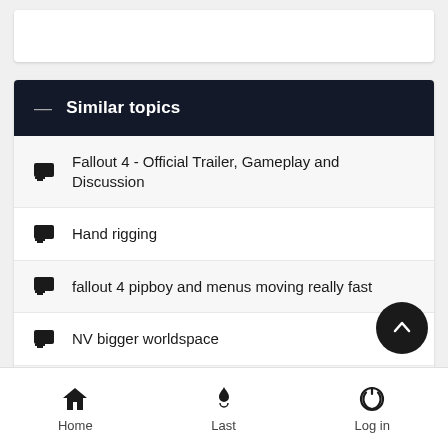Similar topics
Fallout 4 - Official Trailer, Gameplay and Discussion
Hand rigging
fallout 4 pipboy and menus moving really fast
NV bigger worldspace
Thanks for the mods. Bigger thanks to the community
Home  Last  Log in